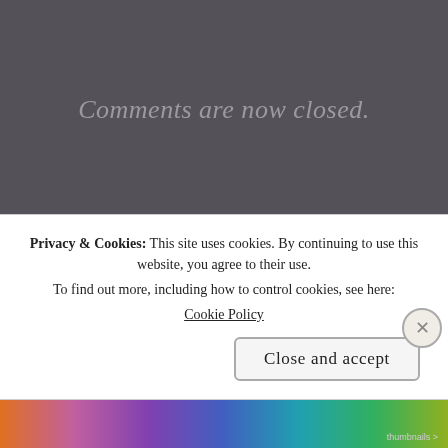Comments are now closed.
My First Novel
My Non-fiction
My Poetry
My Reviews
My Short Stories
On Proofreading and Editing
Privacy & Cookies: This site uses cookies. By continuing to use this website, you agree to their use. To find out more, including how to control cookies, see here: Cookie Policy
Close and accept